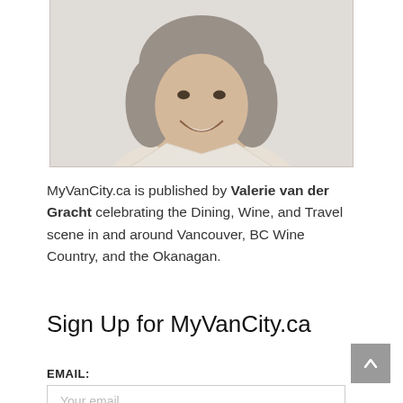[Figure (photo): Portrait photo of a smiling woman with short brown-gray hair, wearing a cream blazer and pearl necklace, photographed against a light background.]
MyVanCity.ca is published by Valerie van der Gracht celebrating the Dining, Wine, and Travel scene in and around Vancouver, BC Wine Country, and the Okanagan.
Sign Up for MyVanCity.ca
EMAIL:
Your email